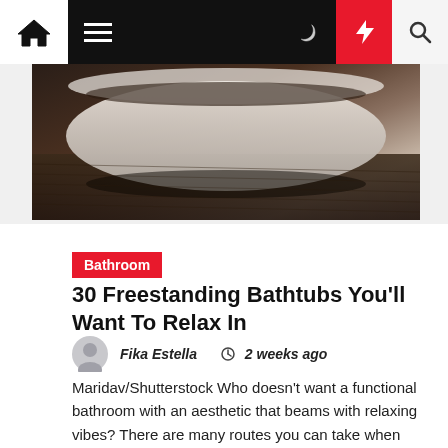Navigation bar with home, menu, moon, bolt, and search icons
[Figure (photo): Close-up photo of a white freestanding bathtub on a dark wooden floor, viewed from the side, with soft lighting creating a warm, relaxing atmosphere. Background is dark and moody.]
Bathroom
30 Freestanding Bathtubs You'll Want To Relax In
Fika Estella  ⊙ 2 weeks ago
Maridav/Shutterstock Who doesn't want a functional bathroom with an aesthetic that beams with relaxing vibes? There are many routes you can take when designing your bathroom, but in the end, you want to be able to walk around in a space that feels open,